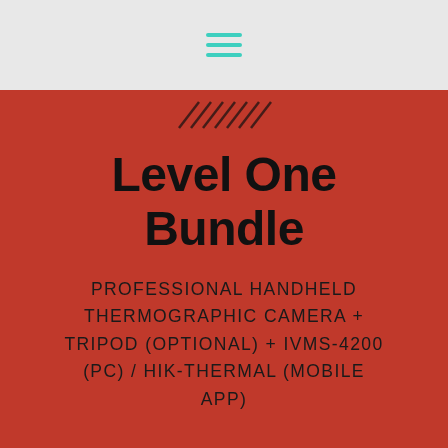[Figure (illustration): Navigation header bar with teal/turquoise hamburger menu icon (three horizontal lines) centered on a light gray background]
[Figure (illustration): Diagonal hatching lines decorative element on red background]
Level One Bundle
PROFESSIONAL HANDHELD THERMOGRAPHIC CAMERA + TRIPOD (OPTIONAL) + IVMS-4200 (PC) / HIK-THERMAL (MOBILE APP)